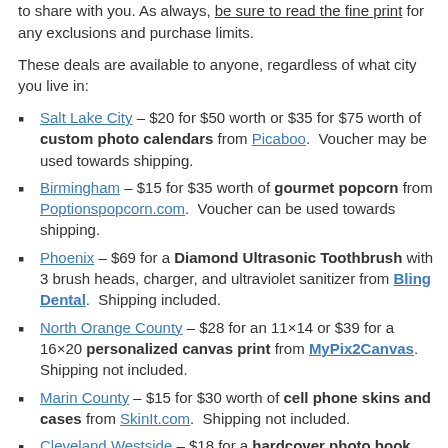to share with you. As always, be sure to read the fine print for any exclusions and purchase limits.
These deals are available to anyone, regardless of what city you live in:
Salt Lake City – $20 for $50 worth or $35 for $75 worth of custom photo calendars from Picaboo. Voucher may be used towards shipping.
Birmingham – $15 for $35 worth of gourmet popcorn from Poptionspopcorn.com. Voucher can be used towards shipping.
Phoenix – $69 for a Diamond Ultrasonic Toothbrush with 3 brush heads, charger, and ultraviolet sanitizer from Bling Dental. Shipping included.
North Orange County – $28 for an 11×14 or $39 for a 16×20 personalized canvas print from MyPix2Canvas. Shipping not included.
Marin County – $15 for $30 worth of cell phone skins and cases from SkinIt.com. Shipping not included.
Cleveland Westside – $18 for a hardcover photo book